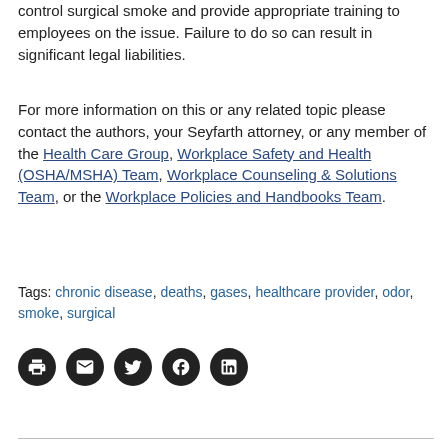control surgical smoke and provide appropriate training to employees on the issue. Failure to do so can result in significant legal liabilities.
For more information on this or any related topic please contact the authors, your Seyfarth attorney, or any member of the Health Care Group, Workplace Safety and Health (OSHA/MSHA) Team, Workplace Counseling & Solutions Team, or the Workplace Policies and Handbooks Team.
Tags: chronic disease, deaths, gases, healthcare provider, odor, smoke, surgical
[Figure (infographic): Row of five circular social/sharing icons: printer, email/envelope, Twitter, Facebook, LinkedIn — all dark/black circles with white icons.]
horizontal divider line